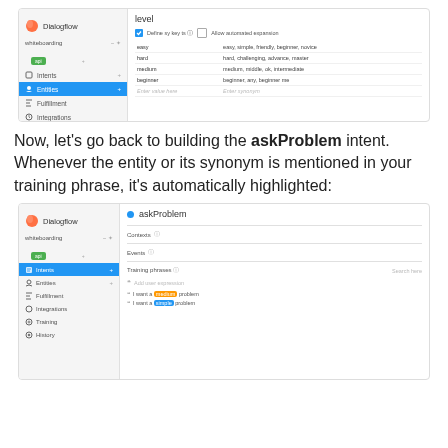[Figure (screenshot): Dialogflow console screenshot showing the 'level' entity with a table of entity values: easy (easy, simple, friendly, beginner, novice), hard (hard, challenging, advance, master), medium (medium, middle, ok, intermediate), beginner (beginner, any, beginner me), and an empty row.]
Now, let’s go back to building the askProblem intent. Whenever the entity or its synonym is mentioned in your training phrase, it’s automatically highlighted:
[Figure (screenshot): Dialogflow console screenshot showing the askProblem intent with Contexts, Events, Training phrases sections. Training phrases include 'Add user expression', 'I want a [highlighted] medium problem' and 'I want a [highlighted] simple problem'.]